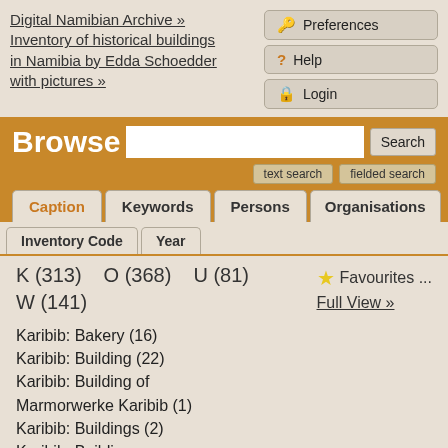Digital Namibian Archive » Inventory of historical buildings in Namibia by Edda Schoedder with pictures »
Preferences
Help
Login
Browse
Caption | Keywords | Persons | Organisations | Inventory Code | Year
K (313)   O (368)   U (81)
W (141)
Favourites ...
Full View »
Karibib: Bakery (16)
Karibib: Building (22)
Karibib: Building of Marmorwerke Karibib (1)
Karibib: Buildings (2)
Karibib: Building - unidentified (1)